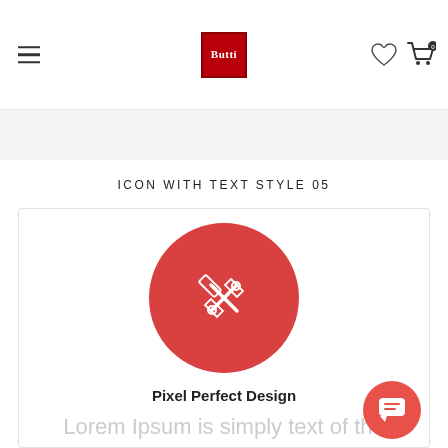Butti logo, hamburger menu, heart icon, cart icon with 0
ICON WITH TEXT STYLE 05
[Figure (illustration): Card with red circle containing a pencil/edit icon, title 'Pixel Perfect Design', and lorem ipsum text below]
Pixel Perfect Design
Lorem Ipsum is simply text of the printing and typesetting industry. Lorem